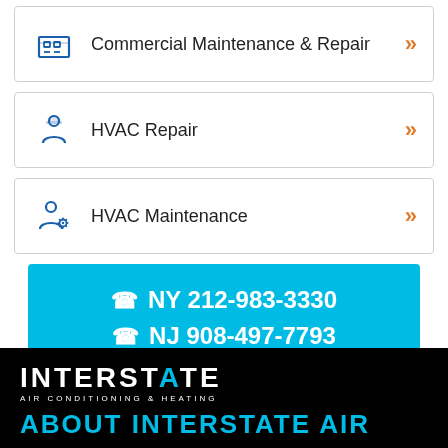Commercial Maintenance & Repair
HVAC Repair
HVAC Maintenance
NY 212-983-3330
NJ 908-497-7793
[Figure (logo): Interstate Air Conditioning & Heating logo on black background]
ABOUT INTERSTATE AIR